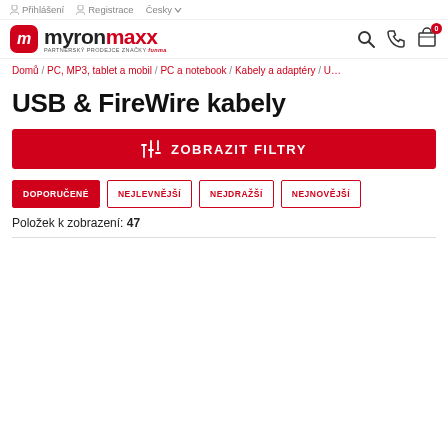Přihlášení  Registrace  Česky
[Figure (logo): MyronMaxx logo with red M badge and text 'myronmaxx', subtitle 'PARTNERSKÝ PRODEJCE ZNAČKY funma']
Domů / PC, MP3, tablet a mobil / PC a notebook / Kabely a adaptéry / US
USB & FireWire kabely
ZOBRAZIT FILTRY
DOPORUČENÉ
NEJLEVNĚJŠÍ
NEJDRAŽŠÍ
NEJNOVĚJŠÍ
Položek k zobrazení: 47